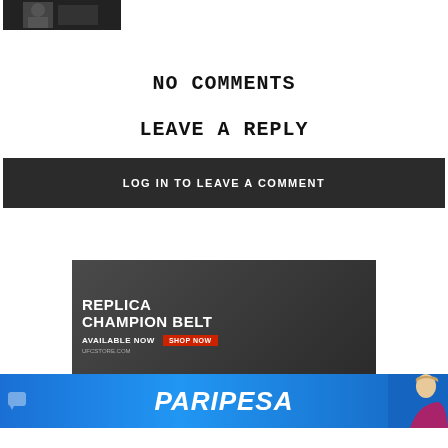[Figure (photo): Small thumbnail image of a person in dark background, cropped at top]
NO COMMENTS
LEAVE A REPLY
LOG IN TO LEAVE A COMMENT
[Figure (infographic): Advertisement for Replica Champion Belt - dark background with text REPLICA CHAMPION BELT, AVAILABLE NOW, SHOP NOW button, and website URL]
[Figure (infographic): Paripesa advertisement banner - blue gradient background with Paripesa logo in white italic text and woman figure on right side]